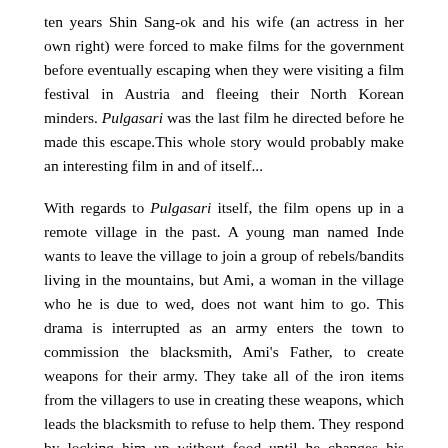ten years Shin Sang-ok and his wife (an actress in her own right) were forced to make films for the government before eventually escaping when they were visiting a film festival in Austria and fleeing their North Korean minders. Pulgasari was the last film he directed before he made this escape.This whole story would probably make an interesting film in and of itself...
With regards to Pulgasari itself, the film opens up in a remote village in the past. A young man named Inde wants to leave the village to join a group of rebels/bandits living in the mountains, but Ami, a woman in the village who he is due to wed, does not want him to go. This drama is interrupted as an army enters the town to commission the blacksmith, Ami's Father, to create weapons for their army. They take all of the iron items from the villagers to use in creating these weapons, which leads the blacksmith to refuse to help them. They respond by locking him up without food until he changes his mind. Just before he dies